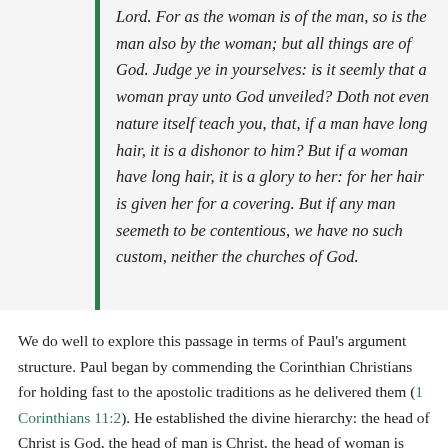Lord. For as the woman is of the man, so is the man also by the woman; but all things are of God. Judge ye in yourselves: is it seemly that a woman pray unto God unveiled? Doth not even nature itself teach you, that, if a man have long hair, it is a dishonor to him? But if a woman have long hair, it is a glory to her: for her hair is given her for a covering. But if any man seemeth to be contentious, we have no such custom, neither the churches of God.
We do well to explore this passage in terms of Paul's argument structure. Paul began by commending the Corinthian Christians for holding fast to the apostolic traditions as he delivered them (1 Corinthians 11:2). He established the divine hierarchy: the head of Christ is God, the head of man is Christ, the head of woman is man (or possibly wife is husband; 1 Corinthians 11:3). He then introduced the explicit instruction: when praying or prophesying men are to maintain uncovered heads, while women ought to have their heads